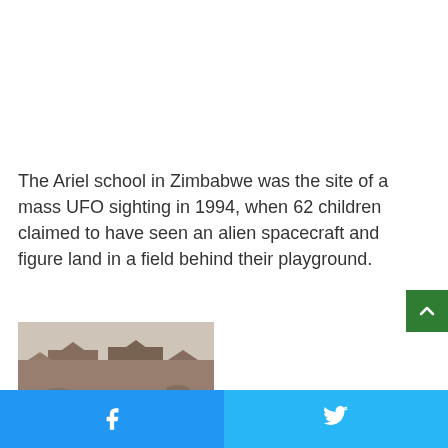The Ariel school in Zimbabwe was the site of a mass UFO sighting in 1994, when 62 children claimed to have seen an alien spacecraft and figure land in a field behind their playground.
[Figure (photo): Aerial landscape photograph showing rocky mesas and flat terrain, possibly Zimbabwe landscape, with hazy atmosphere.]
Facebook share button | Twitter share button